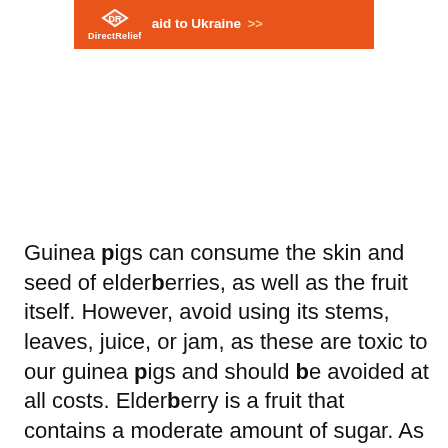[Figure (other): Direct Relief orange banner advertisement with logo and text 'aid to Ukraine >>']
Guinea pigs can consume the skin and seed of elderberries, as well as the fruit itself. However, avoid using its stems, leaves, juice, or jam, as these are toxic to our guinea pigs and should be avoided at all costs. Elderberry is a fruit that contains a moderate amount of sugar. As a result, consume it in moderation to avoid health problems.